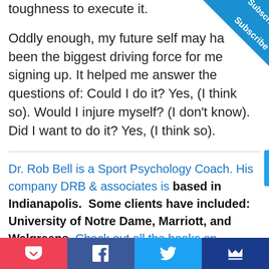toughness to execute it.

Oddly enough, my future self may have been the biggest driving force for me signing up. It helped me answer the questions of: Could I do it? Yes, (I think so). Would I injure myself? (I don't know). Did I want to do it? Yes, (I think so).
[Figure (other): Blue diagonal 'Subscribe' badge in top-right corner]
Dr. Rob Bell is a Sport Psychology Coach. His company DRB & associates is based in Indianapolis.  Some clients have included: University of Notre Dame, Marriott, and Walgreens. Check out all the books on Mental Toughness
[Figure (other): Bottom social share bar with Pocket, Facebook, Twitter, and Crown icons]